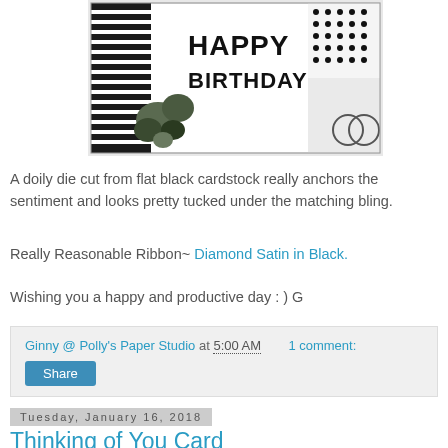[Figure (photo): A birthday card with 'HAPPY BIRTHDAY' text in bold black letters, decorated with flowers and black and white patterns.]
A doily die cut from flat black cardstock really anchors the sentiment and looks pretty tucked under the matching bling.
Really Reasonable Ribbon~ Diamond Satin in Black.
Wishing you a happy and productive day : ) G
Ginny @ Polly's Paper Studio at 5:00 AM    1 comment:
Share
Tuesday, January 16, 2018
Thinking of You Card